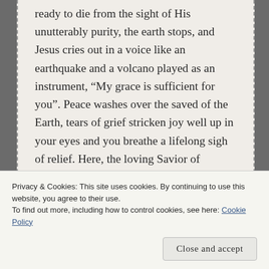ready to die from the sight of His unutterably purity, the earth stops, and Jesus cries out in a voice like an earthquake and a volcano played as an instrument, “My grace is sufficient for you”. Peace washes over the saved of the Earth, tears of grief stricken joy well up in your eyes and you breathe a lifelong sigh of relief. Here, the loving Savior of mankind, has returned.

Softly descending above you an angel floats down near your side. The angel greets you with the warmest smile and speaks your name. Instantly
Privacy & Cookies: This site uses cookies. By continuing to use this website, you agree to their use.
To find out more, including how to control cookies, see here: Cookie Policy
Close and accept